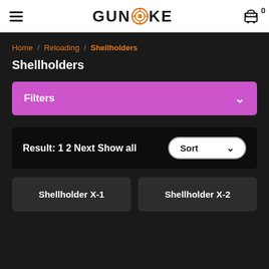GUNSMOKE
Home / Reloading / Shellholders
Shellholders
Filters
Result: 1 2 Next Show all
Shellholder X-1
Shellholder X-2